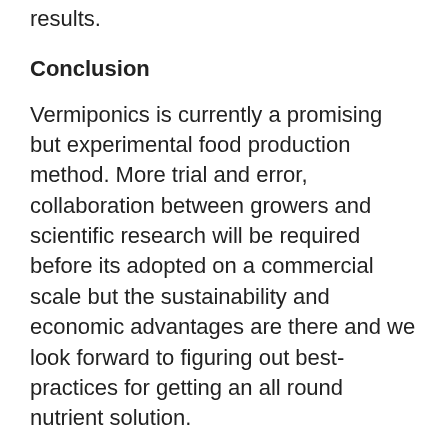results.
Conclusion
Vermiponics is currently a promising but experimental food production method. More trial and error, collaboration between growers and scientific research will be required before its adopted on a commercial scale but the sustainability and economic advantages are there and we look forward to figuring out best-practices for getting an all round nutrient solution.
For more information, subscribe to our